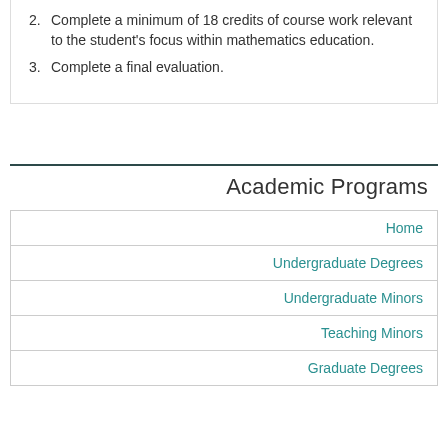2. Complete a minimum of 18 credits of course work relevant to the student's focus within mathematics education.
3. Complete a final evaluation.
Academic Programs
| Home |
| Undergraduate Degrees |
| Undergraduate Minors |
| Teaching Minors |
| Graduate Degrees |